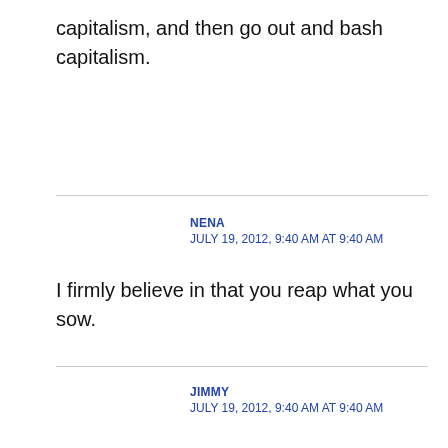capitalism, and then go out and bash capitalism.
NENA
JULY 19, 2012, 9:40 AM AT 9:40 AM
I firmly believe in that you reap what you sow.
JIMMY
JULY 19, 2012, 9:40 AM AT 9:40 AM